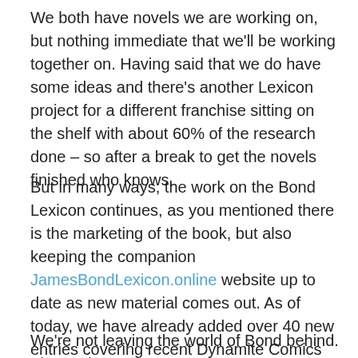We both have novels we are working on, but nothing immediate that we'll be working together on. Having said that we do have some ideas and there's another Lexicon project for a different franchise sitting on the shelf with about 60% of the research done – so after a break to get the novels finished who knows.
But in many ways, the work on the Bond Lexicon continues, as you mentioned there is the marketing of the book, but also keeping the companion JamesBondLexicon.online website up to date as new material comes out. As of today, we have already added over 40 new entries covering recent Dynamite Comics releases and the 2021 Comic Relief sketch with Daniel Craig.
We're not leaving the world of Bond behind. The Lexicon